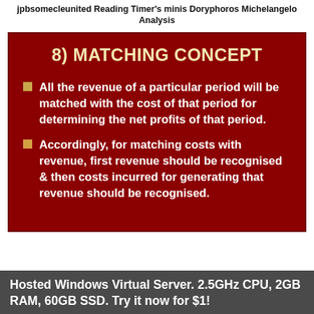jpbsomecleunited Reading Timer's minis Doryphoros Michelangelo Analysis
[Figure (other): Dark red slide with title '8) MATCHING CONCEPT' and two bullet points explaining the matching concept in accounting.]
All the revenue of a particular period will be matched with the cost of that period for determining the net profits of that period.
Accordingly, for matching costs with revenue, first revenue should be recognised & then costs incurred for generating that revenue should be recognised.
Hosted Windows Virtual Server. 2.5GHz CPU, 2GB RAM, 60GB SSD. Try it now for $1!